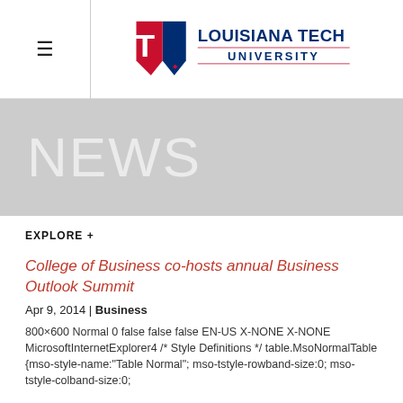≡  LOUISIANA TECH UNIVERSITY
NEWS
EXPLORE +
College of Business co-hosts annual Business Outlook Summit
Apr 9, 2014 | Business
800×600 Normal 0 false false false EN-US X-NONE X-NONE MicrosoftInternetExplorer4 /* Style Definitions */ table.MsoNormalTable {mso-style-name:"Table Normal"; mso-tstyle-rowband-size:0; mso-tstyle-colband-size:0;